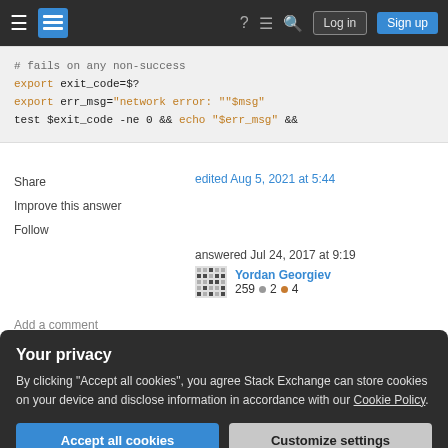Stack Exchange navigation bar with Log in and Sign up buttons
[Figure (screenshot): Code block showing bash shell script with export and test commands in monospace font on light gray background]
Share
Improve this answer
Follow
edited Aug 5, 2021 at 5:44
answered Jul 24, 2017 at 9:19
Yordan Georgiev
259 ● 2 ● 4
Add a comment
Your privacy
By clicking "Accept all cookies", you agree Stack Exchange can store cookies on your device and disclose information in accordance with our Cookie Policy.
Accept all cookies
Customize settings